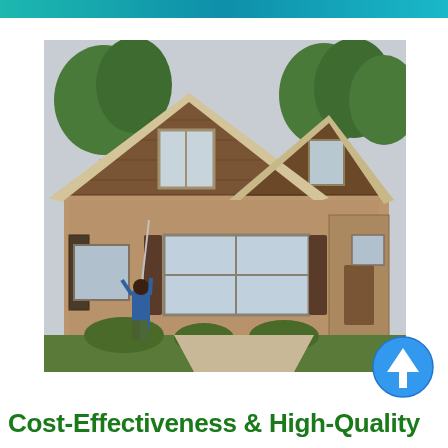[Figure (photo): A person standing in front of a large brick house with dark wood shake gable accents and multiple peaked roof sections, using a long-handled tool to clean or wash the exterior. Trees are visible in the background. The setting appears overcast.]
[Figure (logo): A circular blue badge with a white upward arrow, resembling an upgrade or quality icon.]
Cost-Effectiveness & High-Quality